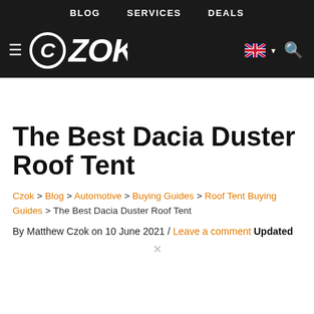BLOG  SERVICES  DEALS
[Figure (logo): CZOK website logo with hamburger menu, CZOK text in white on dark background, UK flag and search icon]
The Best Dacia Duster Roof Tent
Czok > Blog > Automotive > Buying Guides > Roof Tent Buying Guides > The Best Dacia Duster Roof Tent
By Matthew Czok on 10 June 2021 / Leave a comment Updated